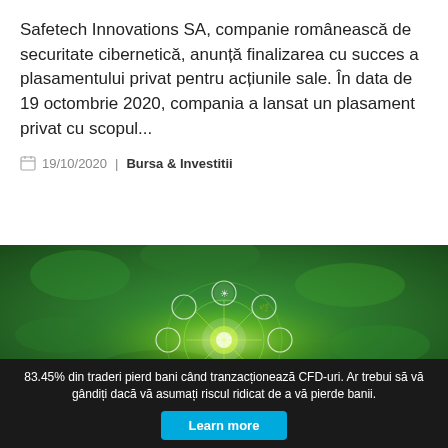Safetech Innovations SA, companie românească de securitate cibernetică, anunță finalizarea cu succes a plasamentului privat pentru acțiunile sale. În data de 19 octombrie 2020, compania a lansat un plasament privat cu scopul...
19/10/2020 | Bursa & Investitii
[Figure (photo): Green technology concept image showing glowing circular icons on a lush green background, representing sustainability and innovation.]
83.45% din traderi pierd bani când tranzacționează CFD-uri. Ar trebui să vă gândiți dacă vă asumați riscul ridicat de a vă pierde banii.
Learn more